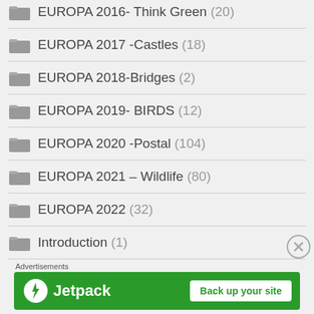EUROPA 2016- Think Green (20)
EUROPA 2017 -Castles (18)
EUROPA 2018-Bridges (2)
EUROPA 2019- BIRDS (12)
EUROPA 2020 -Postal (104)
EUROPA 2021 – Wildlife (80)
EUROPA 2022 (32)
Introduction (1)
[Figure (other): Jetpack advertisement banner with 'Back up your site' button]